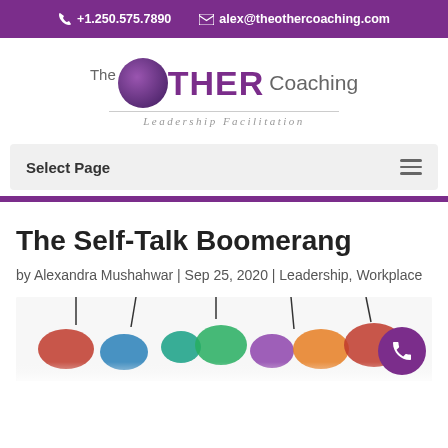+1.250.575.7890   alex@theothercoaching.com
[Figure (logo): The Other Coaching — Leadership Facilitation logo with purple circle and text]
Select Page
The Self-Talk Boomerang
by Alexandra Mushahwar | Sep 25, 2020 | Leadership, Workplace
[Figure (photo): Colorful hanging speech bubble decorations on a white background]